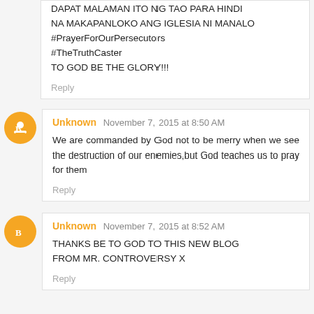DAPAT MALAMAN ITO NG TAO PARA HINDI NA MAKAPANLOKO ANG IGLESIA NI MANALO #PrayerForOurPersecutors #TheTruthCaster TO GOD BE THE GLORY!!!
Reply
Unknown November 7, 2015 at 8:50 AM
We are commanded by God not to be merry when we see the destruction of our enemies,but God teaches us to pray for them
Reply
Unknown November 7, 2015 at 8:52 AM
THANKS BE TO GOD TO THIS NEW BLOG FROM MR. CONTROVERSY X
Reply